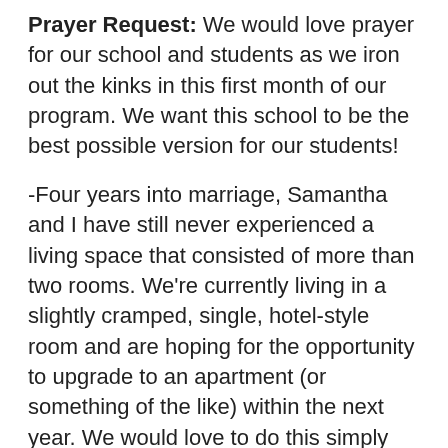Prayer Request: We would love prayer for our school and students as we iron out the kinks in this first month of our program. We want this school to be the best possible version for our students!
-Four years into marriage, Samantha and I have still never experienced a living space that consisted of more than two rooms. We're currently living in a slightly cramped, single, hotel-style room and are hoping for the opportunity to upgrade to an apartment (or something of the like) within the next year. We would love to do this simply for our own sanity, but also in the hopes of starting a family in the near future. Part of this is going to necessitate reaching our fully funded goal of a $3,000 a month income. We are currently making about $1,200 a month in recurring donations. If you're interested (or maybe someone you know) in learning more about our ministry and how you can participate in helping